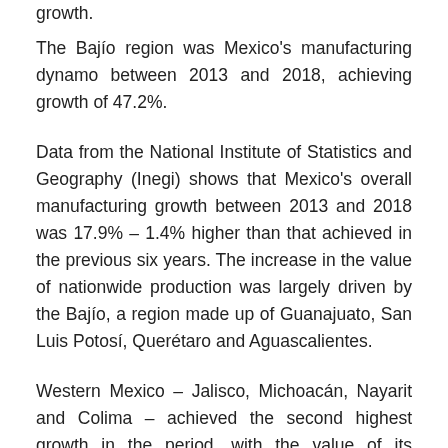growth.
The Bajío region was Mexico's manufacturing dynamo between 2013 and 2018, achieving growth of 47.2%.
Data from the National Institute of Statistics and Geography (Inegi) shows that Mexico's overall manufacturing growth between 2013 and 2018 was 17.9% – 1.4% higher than that achieved in the previous six years. The increase in the value of nationwide production was largely driven by the Bajío, a region made up of Guanajuato, San Luis Potosí, Querétaro and Aguascalientes.
Western Mexico – Jalisco, Michoacán, Nayarit and Colima – achieved the second highest growth in the period, with the value of its production up 25.3%.
The northern border region – taking in all six states that abut the United States – was next with 21.5% growth, followed by the central-north region with